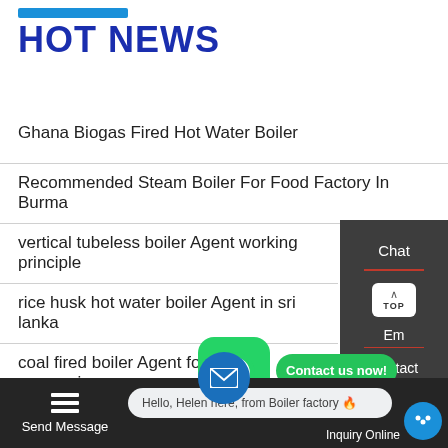HOT NEWS
Ghana Biogas Fired Hot Water Boiler
Recommended Steam Boiler For Food Factory In Burma
vertical tubeless boiler Agent working principle
rice husk hot water boiler Agent in sri lanka
coal fired boiler Agent for fish processing
industrial gas fired vertical boiler
WD-ST-01A ST-18A 4KW Smart Steam Boiler
Chat
Em
Contact
Contact us now!
Send Message
Hello, Helen here, from Boiler factory 🔥
Inquiry Online